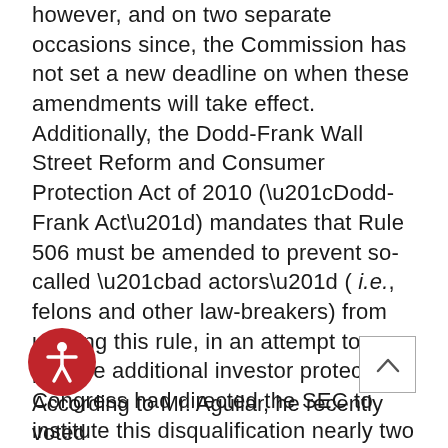however, and on two separate occasions since, the Commission has not set a new deadline on when these amendments will take effect.   Additionally, the Dodd-Frank Wall Street Reform and Consumer Protection Act of 2010 (“Dodd-Frank Act”) mandates that Rule 506 must be amended to prevent so-called “bad actors” ( i.e., felons and other law-breakers) from utilizing this rule, in an attempt to provide additional investor protection.  Congress had directed the SEC to institute this disqualification nearly two years before the JOBS Act had called for the lift on general solicitation, but again the SEC has failed to make such changes.
According to Mr. Aguilar, he recently voted